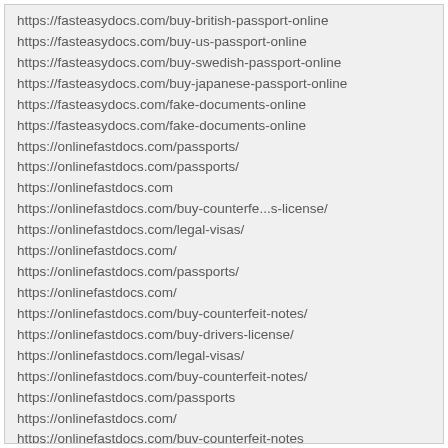https://fasteasydocs.com/buy-british-passport-online
https://fasteasydocs.com/buy-us-passport-online
https://fasteasydocs.com/buy-swedish-passport-online
https://fasteasydocs.com/buy-japanese-passport-online
https://fasteasydocs.com/fake-documents-online
https://fasteasydocs.com/fake-documents-online
https://onlinefastdocs.com/passports/
https://onlinefastdocs.com/passports/
https://onlinefastdocs.com
https://onlinefastdocs.com/buy-counterfe...s-license/
https://onlinefastdocs.com/legal-visas/
https://onlinefastdocs.com/
https://onlinefastdocs.com/passports/
https://onlinefastdocs.com/
https://onlinefastdocs.com/buy-counterfeit-notes/
https://onlinefastdocs.com/buy-drivers-license/
https://onlinefastdocs.com/legal-visas/
https://onlinefastdocs.com/buy-counterfeit-notes/
https://onlinefastdocs.com/passports
https://onlinefastdocs.com/
https://onlinefastdocs.com/buy-counterfeit-notes